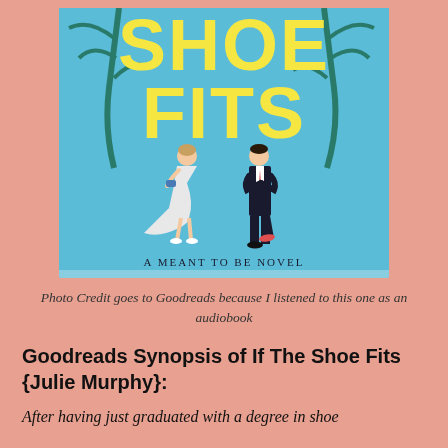[Figure (illustration): Book cover of 'If The Shoe Fits' – A Meant To Be Novel by Julie Murphy. Blue background with large yellow text reading 'SHOE FITS'. Two illustrated characters: a woman in a white dress and a man in a dark suit. Palm tree silhouettes in background.]
Photo Credit goes to Goodreads because I listened to this one as an audiobook
Goodreads Synopsis of If The Shoe Fits {Julie Murphy}:
After having just graduated with a degree in shoe